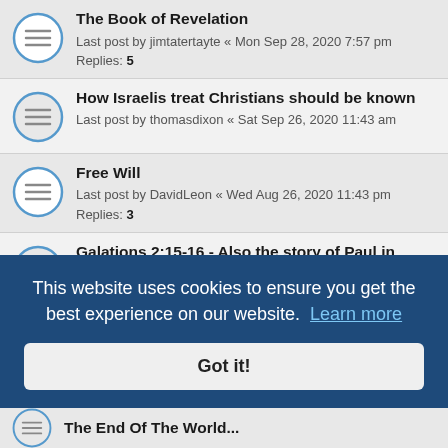The Book of Revelation
Last post by jimtatertayte « Mon Sep 28, 2020 7:57 pm
Replies: 5
How Israelis treat Christians should be known
Last post by thomasdixon « Sat Sep 26, 2020 11:43 am
Free Will
Last post by DavidLeon « Wed Aug 26, 2020 11:43 pm
Replies: 3
Galations 2:15-16 - Also the story of Paul in general
Last post by Sojournerofthearth « Fri Aug 07, 2020 10:25 pm
Replies: 3
"So then, they will be your judges."
This website uses cookies to ensure you get the best experience on our website. Learn more
Got it!
Tribe Of Israel...
The End Of The World...